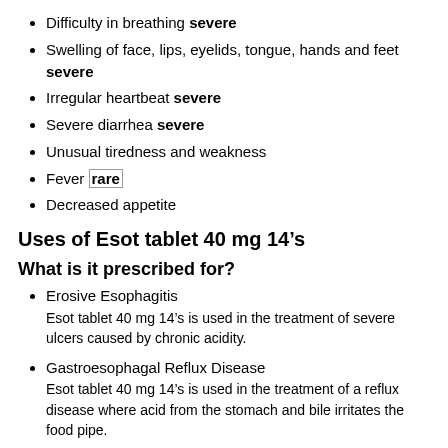Difficulty in breathing severe
Swelling of face, lips, eyelids, tongue, hands and feet severe
Irregular heartbeat severe
Severe diarrhea severe
Unusual tiredness and weakness
Fever rare
Decreased appetite
Uses of Esot tablet 40 mg 14’s
What is it prescribed for?
Erosive Esophagitis
Esot tablet 40 mg 14’s is used in the treatment of severe ulcers caused by chronic acidity.
Gastroesophagal Reflux Disease
Esot tablet 40 mg 14’s is used in the treatment of a reflux disease where acid from the stomach and bile irritates the food pipe.
Helicobacter pylori Infection
Esot tablet 40 mg 14’s is used in combination with other medicines to treat Helicobacter Pylori infection.
Zollinger-Ellison Syndrome